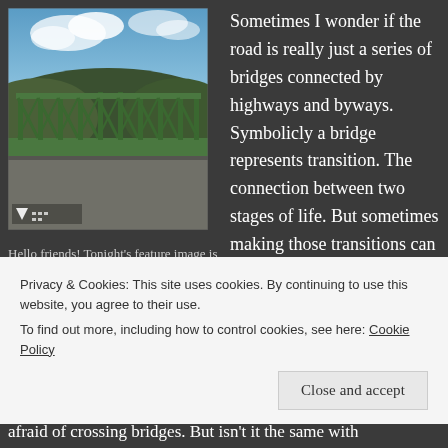[Figure (photo): A green steel truss bridge photographed against a blue sky with clouds and tree-covered hills in the background. A watermark/icon is visible at the bottom left of the image.]
Hello friends! Tonight’s feature image is titled "Chelyan Bridge 82919" and is available for purchase by following the instructions at the bottom of the article.
Sometimes I wonder if the road is really just a series of bridges connected by highways and byways. Symbolicly a bridge represents transition. The connection between two stages of life. But sometimes making those transitions can be a little unsettling. For those who are not local, this bridge has an intersection with a
Privacy & Cookies: This site uses cookies. By continuing to use this website, you agree to their use.
To find out more, including how to control cookies, see here: Cookie Policy
afraid of crossing bridges. But isn’t it the same with